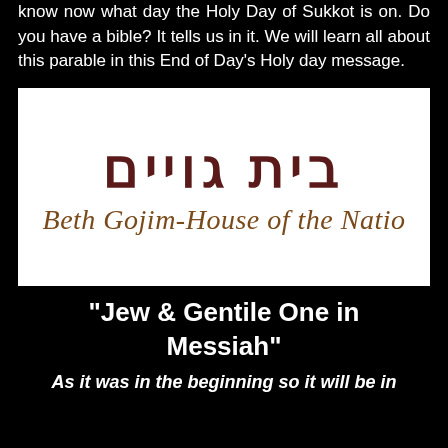know now what day the Holy Day of Sukkot is on. Do you have a bible? It tells us in it. We will learn all about this parable in this End of Day's Holy day message.
[Figure (logo): Beth Gojim - House of the Nations logo with Hebrew text בית גויים above the transliterated name in italic serif font]
"Jew & Gentile One in Messiah"
As it was in the beginning so it will be in